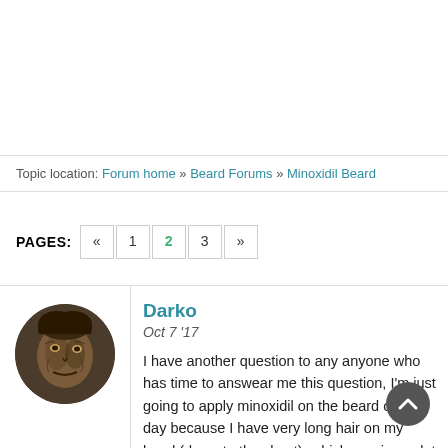Topic location: Forum home » Beard Forums » Minoxidil Beard
PAGES: « 1 2 3 »
[Figure (photo): Circular avatar image of a fantasy/game character — a creature with a beastly face]
Darko
Oct 7 '17
I have another question to any anyone who has time to answear me this question, I'm just going to apply minoxidil on the beard once a day because I have very long hair on my head (down to the chest), which requires a lot of work. is it